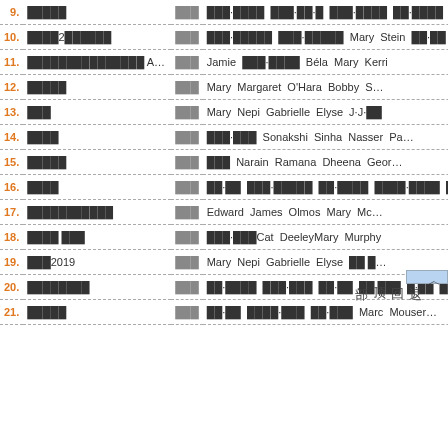| # | Title | Type | Cast |
| --- | --- | --- | --- |
| 9. | ░░░░░ | ░░░ | ░░░·░░░░  ░░░·░░·░  ░░░·░░░░  ░░·░░░░  ░░░·░░░… |
| 10. | ░░░░2░░░░░░ | ░░░ | ░░░·░░░░░  ░░░·░░░░░  Mary  Stein  ░░·░░ |
| 11. | ░░░░░░░░░░░░░░░ Athlet… | ░░░ | Jamie  ░░░·░░░░  Béla  Mary  Kerri |
| 12. | ░░░░░ | ░░░ | Mary  Margaret  O'Hara  Bobby  S… |
| 13. | ░░░ | ░░░ | Mary  Nepi  Gabrielle  Elyse  J·J·░░ |
| 14. | ░░░░ | ░░░ | ░░░·░░░  Sonakshi  Sinha  Nasser  Pa… |
| 15. | ░░░░░ | ░░░ | ░░░  Narain  Ramana  Dheena  Geor… |
| 16. | ░░░░ | ░░░ | ░░·░░  ░░░·░░░░░  ░░·░░░░  ░░░░·░░░░  ░░·░░░… |
| 17. | ░░░░░░░░░░░ | ░░░ | Edward  James  Olmos  Mary  Mc… |
| 18. | ░░░░ ░░░ | ░░░ | ░░░·░░░Cat  DeeleyMary  Murphy |
| 19. | ░░░2019 | ░░░ | Mary  Nepi  Gabrielle  Elyse  ░░░… |
| 20. | ░░░░░░░░ | ░░░ | ░░·░░░░  ░░░·░░░  ░░·░░  ░░·░░░  ░·░░  ░░░·░… |
| 21. | ░░░░░ | ░░░ | ░░·░░  ░░░░·░░░  ░░·░░░  Marc  Mouser… |